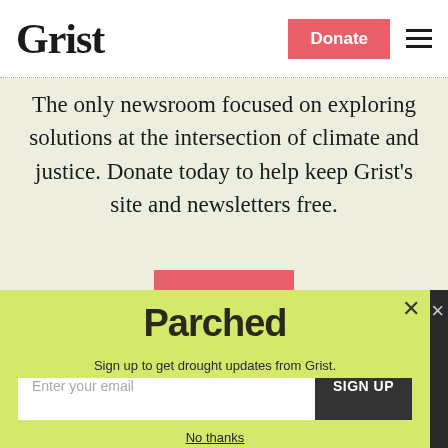Grist
The only newsroom focused on exploring solutions at the intersection of climate and justice. Donate today to help keep Grist's site and newsletters free.
Parched
Sign up to get drought updates from Grist.
Enter your email
SIGN UP
No thanks